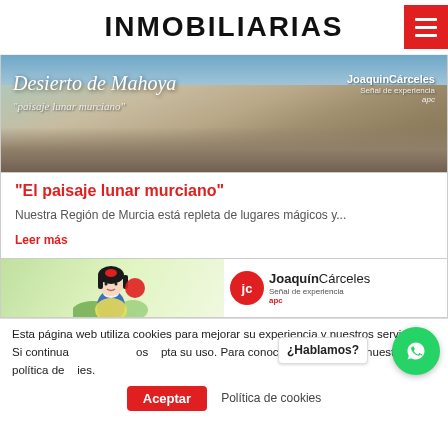INMOBILIARIAS
[Figure (photo): Landscape photo of Desierto de Mahoya with text overlay 'Desierto de Mahoya' and subtitle 'paisaje lunar murciano', plus JoaquinCarceles branding logo on the right]
“El paisaje lunar murciano”
Nuestra Región de Murcia está repleta de lugares mágicos y...
Leer más
[Figure (photo): Advertisement banner featuring a Snow White illustration on the left and JoaquinCarceles brand logo (red circle with jc letters) on the right with tagline Señal de experiencia]
Esta página web utiliza cookies para mejorar su experiencia y nuestros servicios. Si continua ¿Hablamos? os • pta su uso. Para conocer más, consulte nuestra política de ies.
Aceptar   Política de cookies